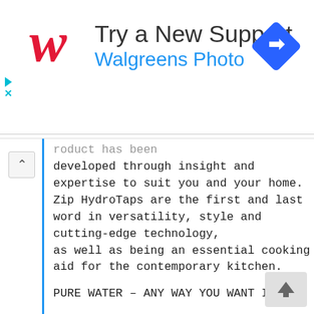[Figure (screenshot): Walgreens Photo advertisement banner with red cursive W logo, title 'Try a New Support', subtitle 'Walgreens Photo' in blue, and a blue diamond navigation icon on the right]
roduct has been developed through insight and expertise to suit you and your home. Zip HydroTaps are the first and last word in versatility, style and cutting-edge technology, as well as being an essential cooking aid for the contemporary kitchen.
PURE WATER – ANY WAY YOU WANT IT
ADVANCED TECHNOLOGY
WATER… MADE IRRESISTIBLE
Our HydroTaps don't just provide pure chilled and boiling water, but for those who like